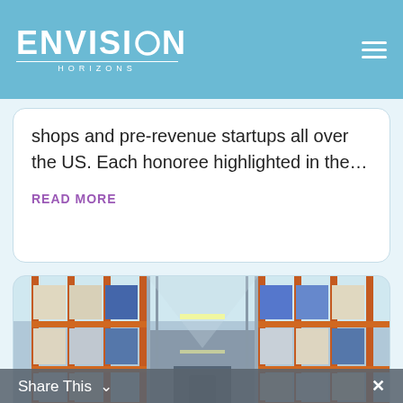ENVISION HORIZONS
shops and pre-revenue startups all over the US. Each honoree highlighted in the...
READ MORE
[Figure (photo): Warehouse interior with tall orange metal shelving racks stacked with boxes and goods, with a long aisle leading to a door in the background.]
Share This ✓  ✕